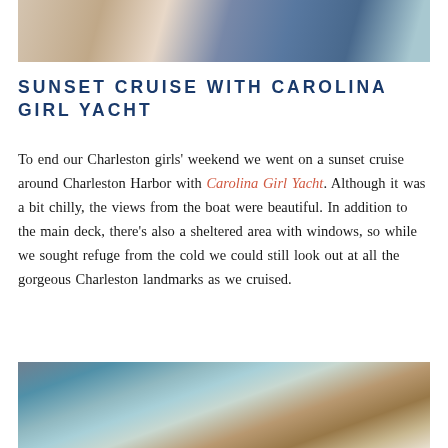[Figure (photo): Top portion of a photo showing people at an event, partial view of clothing and bags]
SUNSET CRUISE WITH CAROLINA GIRL YACHT
To end our Charleston girls' weekend we went on a sunset cruise around Charleston Harbor with Carolina Girl Yacht. Although it was a bit chilly, the views from the boat were beautiful. In addition to the main deck, there's also a sheltered area with windows, so while we sought refuge from the cold we could still look out at all the gorgeous Charleston landmarks as we cruised.
[Figure (photo): Interior of a yacht or boat showing ceiling lights and glass windows with teal/wood paneling]